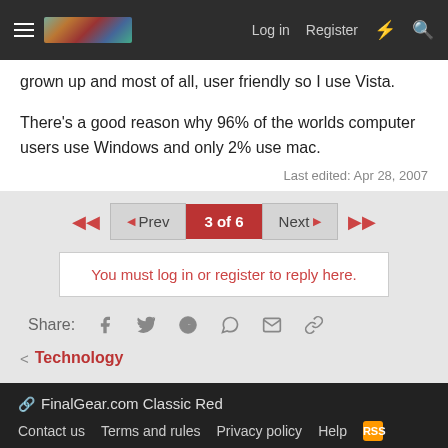Log in  Register
grown up and most of all, user friendly so I use Vista.
There's a good reason why 96% of the worlds computer users use Windows and only 2% use mac.
Last edited: Apr 28, 2007
3 of 6
You must log in or register to reply here.
Share:
Technology
FinalGear.com Classic Red  Contact us  Terms and rules  Privacy policy  Help  Community platform by XenForo® © 2010-2022 XenForo Ltd.